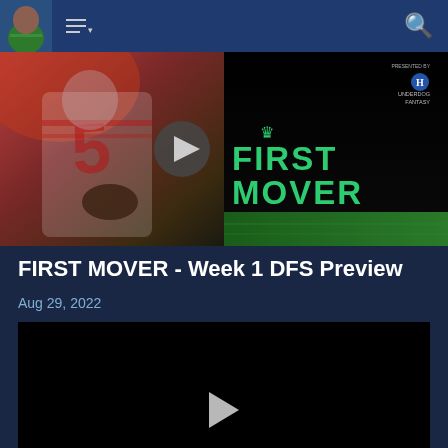Navigation header with menu and search
[Figure (screenshot): Thumbnail image for FIRST MOVER podcast episode showing an NFL quarterback in a white jersey #5 on the left side and a dark panel with green neon 'FIRST MOVER' text and Underdog Fantasy branding on the right, with a play button overlay in the center]
FIRST MOVER - Week 1 DFS Preview
Aug 29, 2022
[Figure (screenshot): Black video player with a white play button triangle in the center]